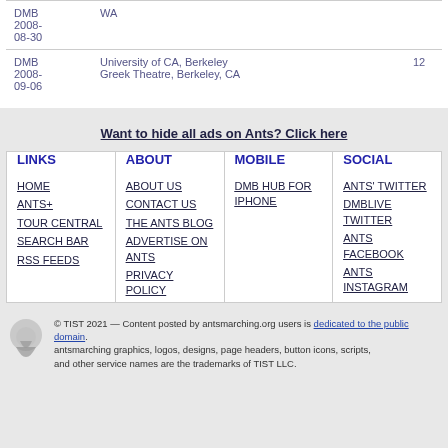| ID | Venue | Count |
| --- | --- | --- |
| DMB 2008-08-30 | WA |  |
| DMB 2008-09-06 | University of CA, Berkeley Greek Theatre, Berkeley, CA | 12 |
Want to hide all ads on Ants? Click here
LINKS
HOME
ANTS+
TOUR CENTRAL
SEARCH BAR
RSS FEEDS
ABOUT
ABOUT US
CONTACT US
THE ANTS BLOG
ADVERTISE ON ANTS
PRIVACY POLICY
MOBILE
DMB HUB FOR IPHONE
SOCIAL
ANTS' TWITTER
DMBLIVE TWITTER
ANTS FACEBOOK
ANTS INSTAGRAM
© TIST 2021 — Content posted by antsmarching.org users is dedicated to the public domain. antsmarching graphics, logos, designs, page headers, button icons, scripts, and other service names are the trademarks of TIST LLC.